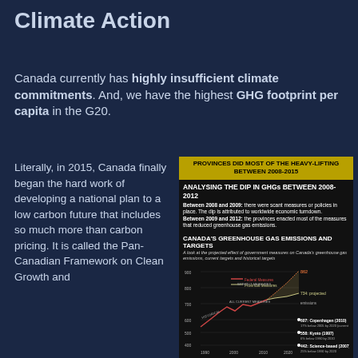A History Lesson on Canada's Climate Action
Canada currently has highly insufficient climate commitments. And, we have the highest GHG footprint per capita in the G20.
Literally, in 2015, Canada finally began the hard work of developing a national plan to a low carbon future that includes so much more than carbon pricing. It is called the Pan-Canadian Framework on Clean Growth and
[Figure (infographic): Infographic titled 'Provinces Did Most of the Heavy-Lifting Between 2008-2015'. Contains analysis of GHG dip 2008-2012 explaining that 2008-2009 saw worldwide economic turndown and 2009-2012 provinces enacted measures. Below is a line chart titled 'Canada's Greenhouse Gas Emissions and Targets' showing historical and projected emissions with targets: 862 (no measures), 734 (projected), 607 Copenhagen (2010), 558 Kyoto (1997), 442 Science-based (2007). Quote from Julia Gelfand, Canada's Environment Commissioner about provinces doing heavy lifting.]